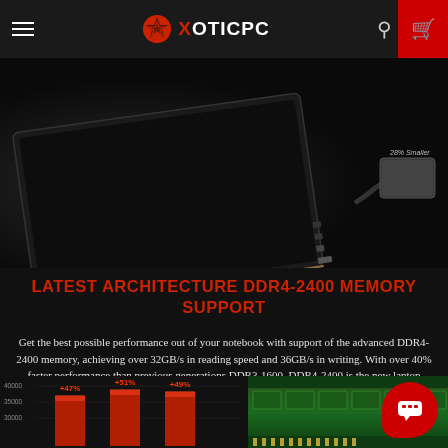XOTICPC navigation header with hamburger menu, logo, search icon, and cart button
[Figure (photo): Dark background hero image showing a slim gaming laptop with ports on the edge connected to a power adapter via cable. Label '28% Smaller' appears near adapter.]
LATEST ARCHITECTURE DDR4-2400 MEMORY SUPPORT
Get the best possible performance out of your notebook with support of the advanced DDR4-2400 memory, achieving over 32GB/s in reading speed and 36GB/s in writing. With over 40% faster performance than previous generations DDR3-1600, DDR4-2400 is the new laptop standard to take your extreme gaming experience to the next level.
[Figure (bar-chart): Partial bar chart visible at bottom left showing red glowing bars with labels +47%, +51%, +49% and y-axis values including 40000, 35000, 30000]
[Figure (photo): Close-up image of green RAM memory module (DDR4) at bottom right of page]